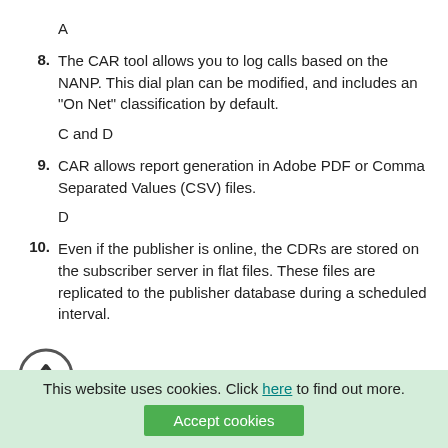A
8. The CAR tool allows you to log calls based on the NANP. This dial plan can be modified, and includes an "On Net" classification by default.
C and D
9. CAR allows report generation in Adobe PDF or Comma Separated Values (CSV) files.
D
10. Even if the publisher is online, the CDRs are stored on the subscriber server in flat files. These files are replicated to the publisher database during a scheduled interval.
This website uses cookies. Click here to find out more.